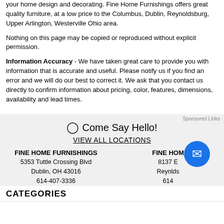your home design and decorating. Fine Home Furnishings offers great quality furniture, at a low price to the Columbus, Dublin, Reynoldsburg, Upper Arlington, Westerville Ohio area.
Nothing on this page may be copied or reproduced without explicit permission.
Information Accuracy - We have taken great care to provide you with information that is accurate and useful. Please notify us if you find an error and we will do our best to correct it. We ask that you contact us directly to confirm information about pricing, color, features, dimensions, availability and lead times.
Sponsored Links
Come Say Hello!
VIEW ALL LOCATIONS
FINE HOME FURNISHINGS
5353 Tuttle Crossing Blvd
Dublin, OH 43016
614-407-3336
FINE HOME
8137 E
Reynolds
614
CATEGORIES